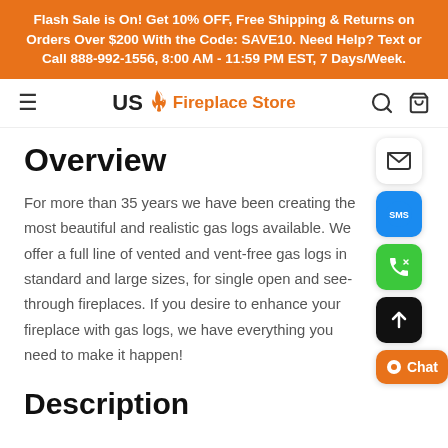Flash Sale is On! Get 10% OFF, Free Shipping & Returns on Orders Over $200 With the Code: SAVE10. Need Help? Text or Call 888-992-1556, 8:00 AM - 11:59 PM EST, 7 Days/Week.
[Figure (logo): US Fireplace Store logo with flame icon]
Overview
For more than 35 years we have been creating the most beautiful and realistic gas logs available. We offer a full line of vented and vent-free gas logs in standard and large sizes, for single open and see-through fireplaces. If you desire to enhance your fireplace with gas logs, we have everything you need to make it happen!
Description